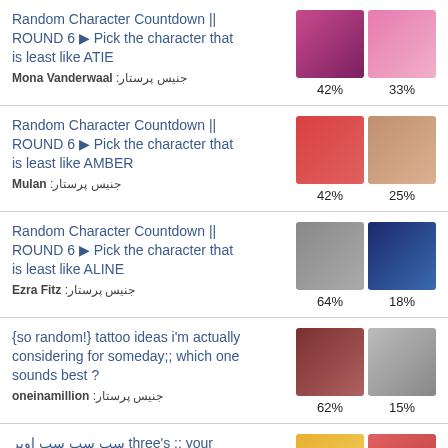Random Character Countdown || ROUND 6 ▶ Pick the character that is least like ATIE
جنیس پرستار: Mona Vanderwaal
42% | 33%
Random Character Countdown || ROUND 6 ▶ Pick the character that is least like AMBER
جنیس پرستار: Mulan
42% | 25%
Random Character Countdown || ROUND 6 ▶ Pick the character that is least like ALINE
جنیس پرستار: Ezra Fitz
64% | 18%
{so random!} tattoo ideas i'm actually considering for someday;; which one sounds best ?
جنیس پرستار: oneinamillion
62% | 15%
سب سب سب اویر three's ;; your
جنیس پرستار: 2 [tv.spin.offs.maloc]